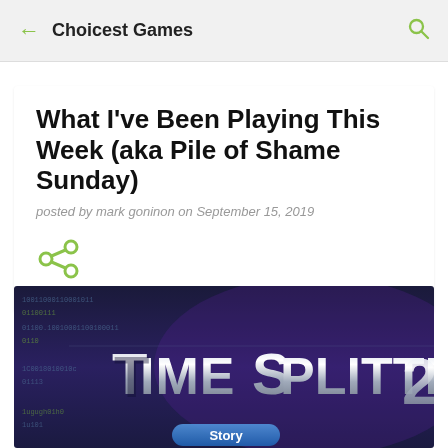Choicest Games
What I've Been Playing This Week (aka Pile of Shame Sunday)
posted by mark goninon on September 15, 2019
[Figure (other): Share icon (green arrow branching icon)]
[Figure (screenshot): TimeSplitters 2 game screenshot showing the game logo in metallic letters on a dark purple/blue binary code background, with a Story mode button visible at the bottom]